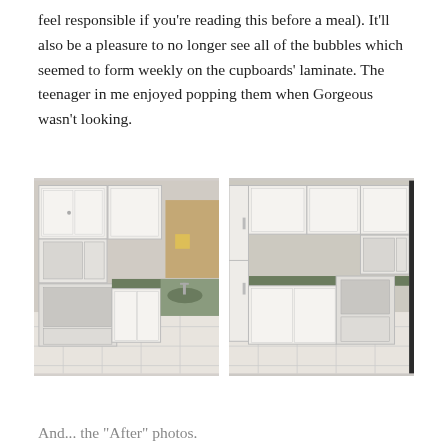feel responsible if you're reading this before a meal). It'll also be a pleasure to no longer see all of the bubbles which seemed to form weekly on the cupboards' laminate. The teenager in me enjoyed popping them when Gorgeous wasn't looking.
[Figure (photo): Two side-by-side photos of a kitchen with white cabinets, white appliances (stove, microwave, refrigerator), dark green countertops, and white tile floor.]
And... the "After" photos.